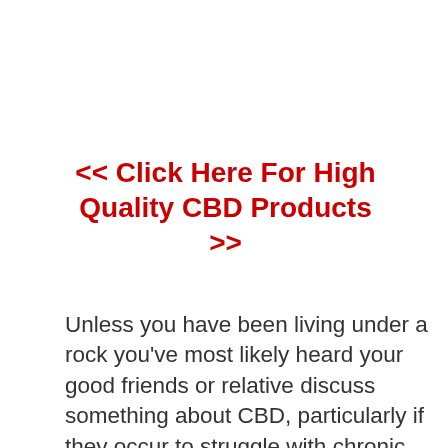<< Click Here For High Quality CBD Products >>
Unless you have been living under a rock you've most likely heard your good friends or relative discuss something about CBD, particularly if they occur to struggle with chronic pain or stress and anxiety. As many U.S. states begin to legalize both medical and leisure cannabis, the marketplace has actually blown up with development in many different types of CBD products. Regardless